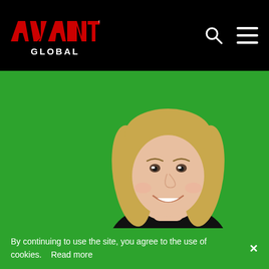AVANT GLOBAL — navigation header with logo, search icon, and menu icon
[Figure (photo): Young woman with blonde bob haircut smiling, wearing a black top, photographed against a bright green background]
By continuing to use the site, you agree to the use of cookies.  Read more